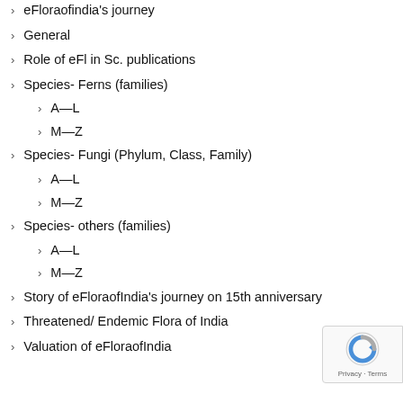eFloraofindia's journey
General
Role of eFl in Sc. publications
Species- Ferns (families)
A—L
M—Z
Species- Fungi (Phylum, Class, Family)
A—L
M—Z
Species- others (families)
A—L
M—Z
Story of eFloraofIndia's journey on 15th anniversary
Threatened/ Endemic Flora of India
Valuation of eFloraofIndia